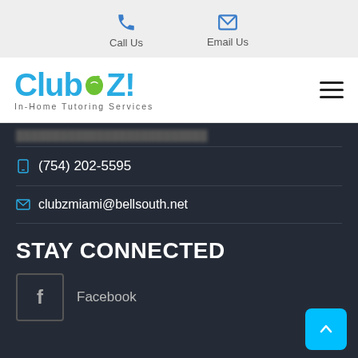Call Us  Email Us
[Figure (logo): Club Z! In-Home Tutoring Services logo in blue with green apple icon]
(754) 202-5595
clubzmiami@bellsouth.net
STAY CONNECTED
Facebook